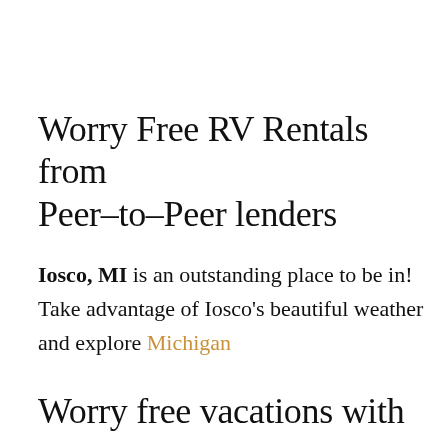Worry Free RV Rentals from Peer–to–Peer lenders
Iosco, MI is an outstanding place to be in! Take advantage of Iosco's beautiful weather and explore Michigan
Worry free vacations with